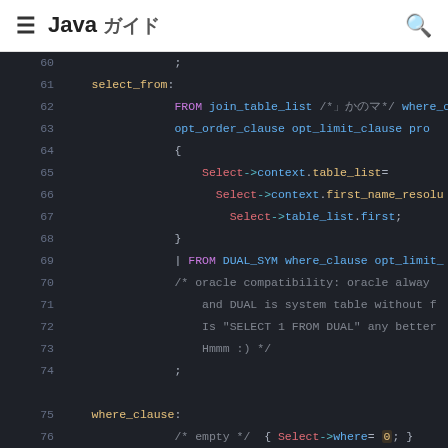Java ガイド
[Figure (screenshot): Code editor screenshot showing Java grammar file lines 60-78 with syntax highlighting on dark background. Code shows select_from and where_clause grammar rules with FROM, DUAL_SYM keywords, Select->context references, and comments about oracle compatibility.]